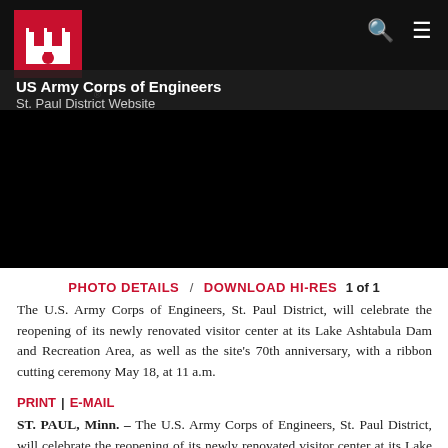US Army Corps of Engineers — St. Paul District Website
[Figure (photo): Black image area representing a photo of the Lake Ashtabula Dam and Recreation Area]
PHOTO DETAILS / DOWNLOAD HI-RES 1 of 1
The U.S. Army Corps of Engineers, St. Paul District, will celebrate the reopening of its newly renovated visitor center at its Lake Ashtabula Dam and Recreation Area, as well as the site's 70th anniversary, with a ribbon cutting ceremony May 18, at 11 a.m.
PRINT | E-MAIL
ST. PAUL, Minn. – The U.S. Army Corps of Engineers, St. Paul District, will celebrate the reopening of its newly renovated visitor center at its Lake Ashtabula Dam and Recreation Area, as...